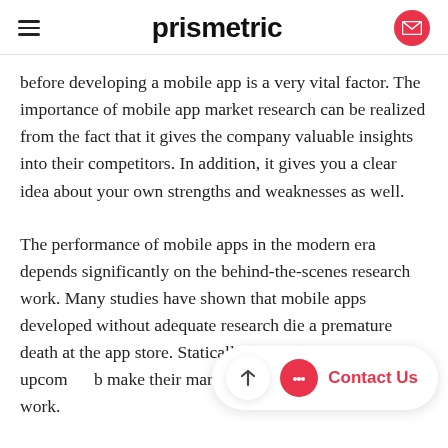prismetric
before developing a mobile app is a very vital factor. The importance of mobile app market research can be realized from the fact that it gives the company valuable insights into their competitors. In addition, it gives you a clear idea about your own strengths and weaknesses as well.
The performance of mobile apps in the modern era depends significantly on the behind-the-scenes research work. Many studies have shown that mobile apps developed without adequate research die a premature death at the app store. Statically, around 72% of the upcom...b... make their mark on the m...pec... research work.